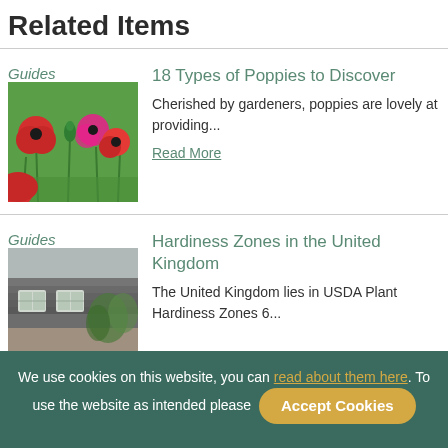Related Items
Guides
[Figure (photo): Red and pink poppy flowers in a green field]
18 Types of Poppies to Discover
Cherished by gardeners, poppies are lovely at providing...
Read More
Guides
[Figure (photo): UK cottage with grey thatched roof and white windows]
Hardiness Zones in the United Kingdom
The United Kingdom lies in USDA Plant Hardiness Zones 6...
We use cookies on this website, you can read about them here. To use the website as intended please
Accept Cookies